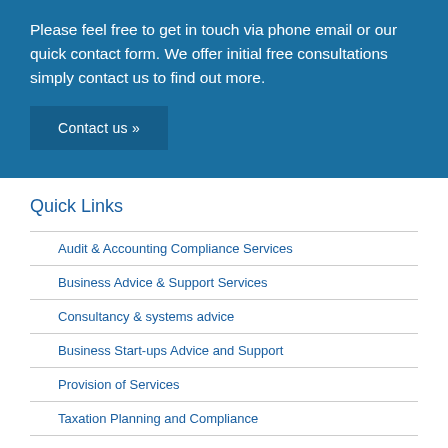Please feel free to get in touch via phone email or our quick contact form. We offer initial free consultations simply contact us to find out more.
Contact us »
Quick Links
Audit & Accounting Compliance Services
Business Advice & Support Services
Consultancy & systems advice
Business Start-ups Advice and Support
Provision of Services
Taxation Planning and Compliance
Investments & Pensions